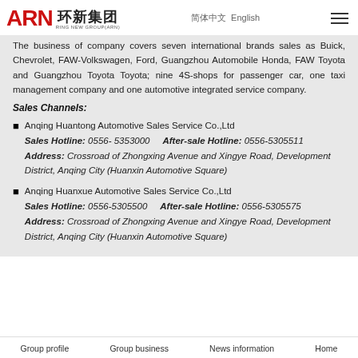ARN 环新集团 RING NEW GROUP(ARN) | 简体中文 English
The business of company covers seven international brands sales as Buick, Chevrolet, FAW-Volkswagen, Ford, Guangzhou Automobile Honda, FAW Toyota and Guangzhou Toyota Toyota; nine 4S-shops for passenger car, one taxi management company and one automotive integrated service company.
Sales Channels:
Anqing Huantong Automotive Sales Service Co.,Ltd
Sales Hotline: 0556- 5353000    After-sale Hotline: 0556-5305511
Address: Crossroad of Zhongxing Avenue and Xingye Road, Development District, Anqing City (Huanxin Automotive Square)
Anqing Huanxue Automotive Sales Service Co.,Ltd
Sales Hotline: 0556-5305500    After-sale Hotline: 0556-5305575
Address: Crossroad of Zhongxing Avenue and Xingye Road, Development District, Anqing City (Huanxin Automotive Square)
Group profile    Group business    News information    Home